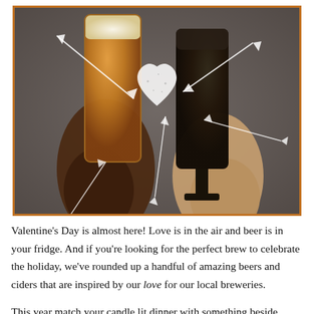[Figure (photo): Two hands holding beer glasses up in a toast, with a decorative white heart and arrow overlays suggesting Valentine's Day theme. One glass contains a light amber beer, the other a dark beer. Background is blurred bar setting.]
Valentine's Day is almost here! Love is in the air and beer is in your fridge. And if you're looking for the perfect brew to celebrate the holiday, we've rounded up a handful of amazing beers and ciders that are inspired by our love for our local breweries.
This year match your candle lit dinner with something beside wine, or settle down to for a cozy evening by the fire with a winter warmer